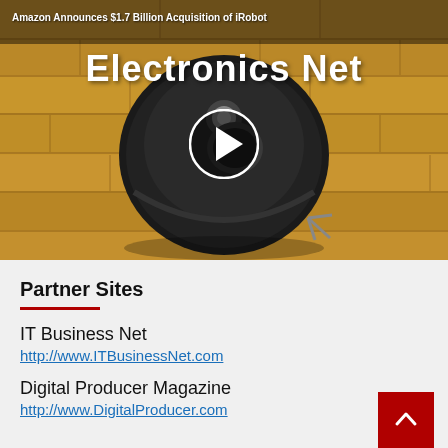[Figure (screenshot): Video thumbnail showing a Roomba robot vacuum on a wood floor with a play button overlay. Header overlay text reads 'Amazon Announces $1.7 Billion Acquisition of iRobot'. Large white bold title 'Electronics Net' is overlaid on the image.]
Partner Sites
IT Business Net
http://www.ITBusinessNet.com
Digital Producer Magazine
http://www.DigitalProducer.com